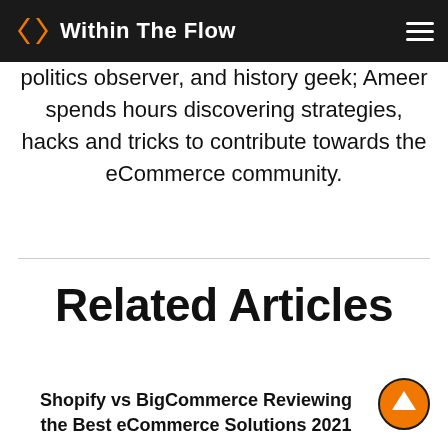Within The Flow
politics observer, and history geek; Ameer spends hours discovering strategies, hacks and tricks to contribute towards the eCommerce community.
Related Articles
Shopify vs BigCommerce Reviewing the Best eCommerce Solutions 2021